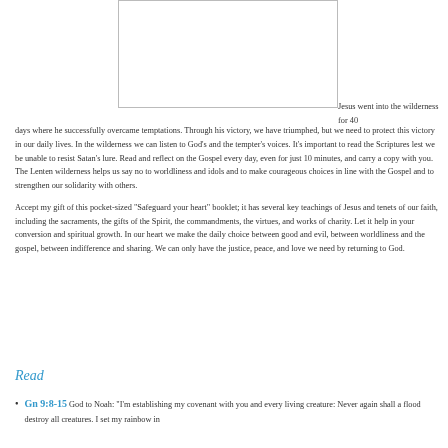[Figure (other): Empty bordered rectangle placeholder image]
Jesus went into the wilderness for 40 days where he successfully overcame temptations. Through his victory, we have triumphed, but we need to protect this victory in our daily lives. In the wilderness we can listen to God's and the tempter's voices. It's important to read the Scriptures lest we be unable to resist Satan's lure. Read and reflect on the Gospel every day, even for just 10 minutes, and carry a copy with you. The Lenten wilderness helps us say no to worldliness and idols and to make courageous choices in line with the Gospel and to strengthen our solidarity with others.
Accept my gift of this pocket-sized "Safeguard your heart" booklet; it has several key teachings of Jesus and tenets of our faith, including the sacraments, the gifts of the Spirit, the commandments, the virtues, and works of charity. Let it help in your conversion and spiritual growth. In our heart we make the daily choice between good and evil, between worldliness and the gospel, between indifference and sharing. We can only have the justice, peace, and love we need by returning to God.
Read
Gn 9:8-15  God to Noah: "I'm establishing my covenant with you and every living creature: Never again shall a flood destroy all creatures. I set my rainbow in